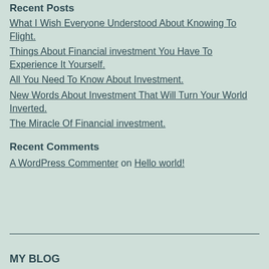Recent Posts
What I Wish Everyone Understood About Knowing To Flight.
Things About Financial investment You Have To Experience It Yourself.
All You Need To Know About Investment.
New Words About Investment That Will Turn Your World Inverted.
The Miracle Of Financial investment.
Recent Comments
A WordPress Commenter on Hello world!
MY BLOG